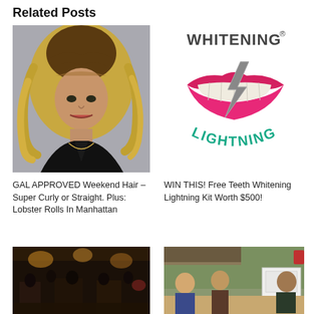Related Posts
[Figure (photo): Blonde curly-haired woman in black outfit at event]
[Figure (logo): Whitening Lightning logo with lips and lightning bolt graphic]
GAL APPROVED Weekend Hair – Super Curly or Straight. Plus: Lobster Rolls In Manhattan
WIN THIS! Free Teeth Whitening Lightning Kit Worth $500!
[Figure (photo): Crowded bar or restaurant interior with warm lighting]
[Figure (photo): People sitting around kitchen table scene]